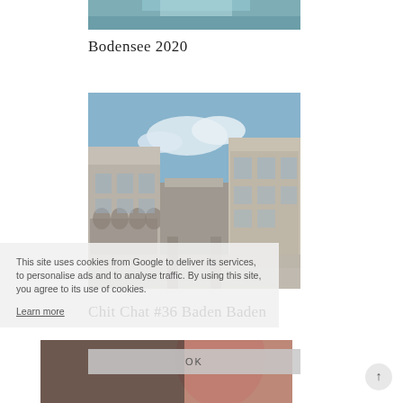[Figure (photo): Cropped top portion of a photo showing a coffee cup or lake scene with teal/blue tones]
Bodensee 2020
[Figure (photo): Street photo of Baden Baden showing European-style buildings with arched facades under a blue sky with clouds]
Chit Chat #36 Baden Baden
This site uses cookies from Google to deliver its services, to personalise ads and to analyse traffic. By using this site, you agree to its use of cookies.
Learn more
[Figure (photo): Portrait photo of a woman with red/auburn hair, partially visible, bottom of page]
OK